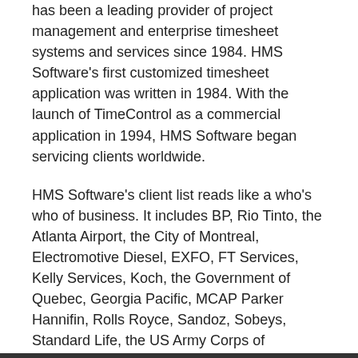has been a leading provider of project management and enterprise timesheet systems and services since 1984. HMS Software's first customized timesheet application was written in 1984. With the launch of TimeControl as a commercial application in 1994, HMS Software began servicing clients worldwide.
HMS Software's client list reads like a who's who of business. It includes BP, Rio Tinto, the Atlanta Airport, the City of Montreal, Electromotive Diesel, EXFO, FT Services, Kelly Services, Koch, the Government of Quebec, Georgia Pacific, MCAP Parker Hannifin, Rolls Royce, Sandoz, Sobeys, Standard Life, the US Army Corps of Engineers, Volvo Novabus, Zimmer Inc. and hundreds of others.
For further information about HMS Software, please visit the HMS website at: www.hms.ca or contact us at info@hms.ca.